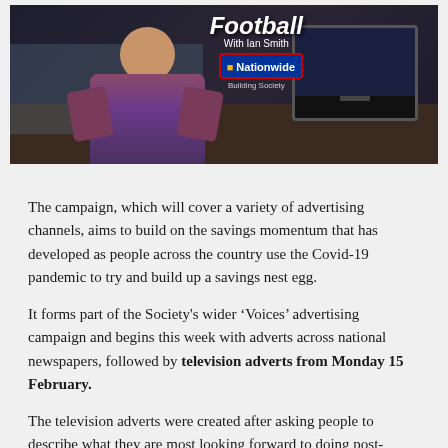[Figure (photo): Video thumbnail showing a person sitting in a room with a television, overlaid with 'Football With Ian Smith' text and Nationwide Building Society logo]
The campaign, which will cover a variety of advertising channels, aims to build on the savings momentum that has developed as people across the country use the Covid-19 pandemic to try and build up a savings nest egg.
It forms part of the Society's wider 'Voices' advertising campaign and begins this week with adverts across national newspapers, followed by television adverts from Monday 15 February.
The television adverts were created after asking people to describe what they are most looking forward to doing post-pandemic and how saving during lockdown will help them to reach their 'sunny day'. As with all previous 'Voices', the stories are personal and have been written by those featuring